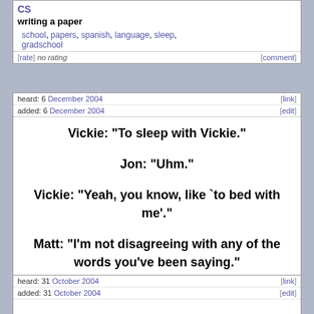CS
writing a paper
school, papers, spanish, language, sleep, gradschool
[rate]  no rating   [comment]
heard: 6 December 2004   [link]
added: 6 December 2004   [edit]
Vickie: "To sleep with Vickie."

Jon: "Uhm."

Vickie: "Yeah, you know, like `to bed with me'."

Matt: "I'm not disagreeing with any of the words you've been saying."
Jon Sagotsky, Matt Sachs, Vickie F
sleep, freudian, sex
[rate]  no rating   [comment]
heard: 31 October 2004   [link]
added: 31 October 2004   [edit]